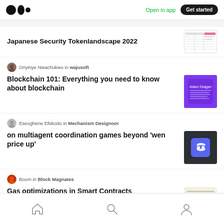Medium app header with logo, Open in app, Get started
Japanese Security Tokenlandscape 2022
Onyinye Nwachukwu in wajusoft
Blockchain 101: Everything you need to know about blockchain
Eseoghene Efekodo in Mechanism Designoor
on multiagent coordination games beyond 'wen price up'
Boom in Block Magnates
Gas optimizations in Smart Contracts
Bottom navigation: Home, Search, Profile